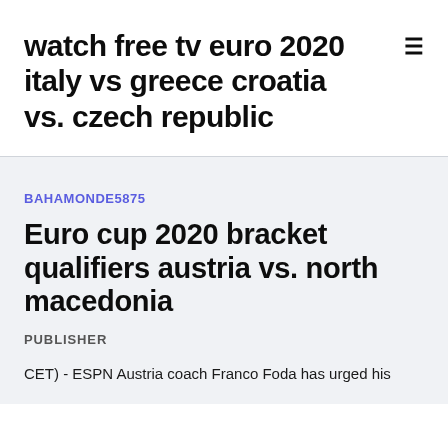watch free tv euro 2020 italy vs greece croatia vs. czech republic
BAHAMONDE5875
Euro cup 2020 bracket qualifiers austria vs. north macedonia
PUBLISHER
CET) - ESPN Austria coach Franco Foda has urged his